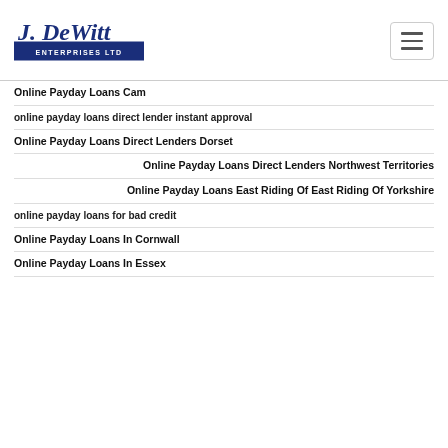J. DeWitt Enterprises Ltd — navigation header with logo and hamburger menu
Online Payday Loans Cam
online payday loans direct lender instant approval
Online Payday Loans Direct Lenders Dorset
Online Payday Loans Direct Lenders Northwest Territories
Online Payday Loans East Riding Of East Riding Of Yorkshire
online payday loans for bad credit
Online Payday Loans In Cornwall
Online Payday Loans In Essex